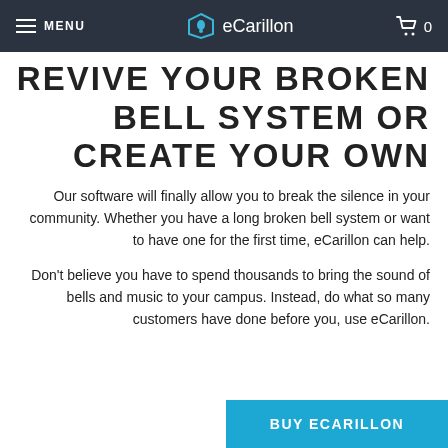MENU  eCarillon  0
REVIVE YOUR BROKEN BELL SYSTEM OR CREATE YOUR OWN
Our software will finally allow you to break the silence in your community. Whether you have a long broken bell system or want to have one for the first time, eCarillon can help.
Don't believe you have to spend thousands to bring the sound of bells and music to your campus. Instead, do what so many customers have done before you, use eCarillon.
BUY ECARILLON